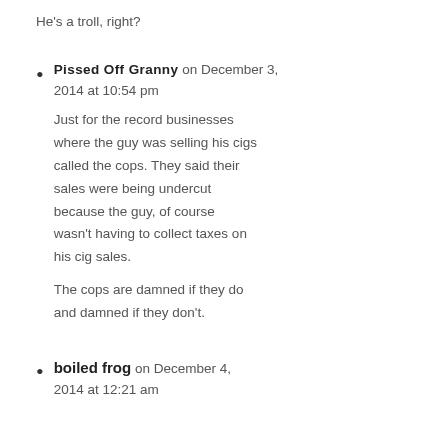He's a troll, right?
Pissed Off Granny on December 3, 2014 at 10:54 pm

Just for the record businesses where the guy was selling his cigs called the cops. They said their sales were being undercut because the guy, of course wasn't having to collect taxes on his cig sales.

The cops are damned if they do and damned if they don't.
boiled frog on December 4, 2014 at 12:21 am